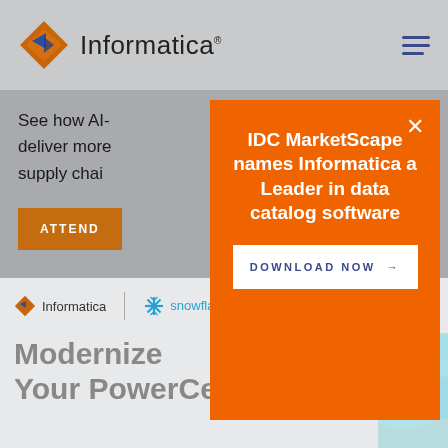Informatica
See how AI- ... in help deliver more ... efficiency in supply chai...
[Figure (screenshot): Orange popup modal overlay on Informatica website with text 'IDC MarketScape names Informatica a Leader in data catalog software' and a DOWNLOAD NOW button]
IDC MarketScape names Informatica a Leader in data catalog software
DOWNLOAD NOW →
[Figure (illustration): Informatica and Snowflake co-branded banner with paper airplane and cloud illustration, text 'Modernize Your PowerCenter...']
Modernize Your PowerCenter